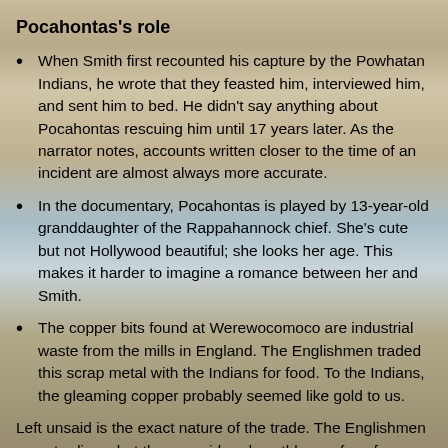Pocahontas's role
When Smith first recounted his capture by the Powhatan Indians, he wrote that they feasted him, interviewed him, and sent him to bed. He didn't say anything about Pocahontas rescuing him until 17 years later. As the narrator notes, accounts written closer to the time of an incident are almost always more accurate.
In the documentary, Pocahontas is played by 13-year-old granddaughter of the Rappahannock chief. She's cute but not Hollywood beautiful; she looks her age. This makes it harder to imagine a romance between her and Smith.
The copper bits found at Werewocomoco are industrial waste from the mills in England. The Englishmen traded this scrap metal with the Indians for food. To the Indians, the gleaming copper probably seemed like gold to us.
Left unsaid is the exact nature of the trade. The Englishmen were trading what they considered worthless refuse for